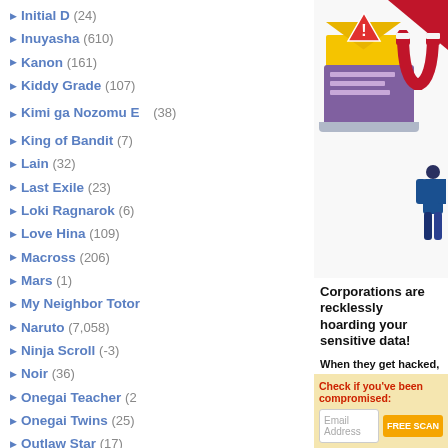Initial D (24)
Inuyasha (610)
Kanon (161)
Kiddy Grade (107)
Kimi ga Nozomu E (38)
King of Bandit (7)
Lain (32)
Last Exile (23)
Loki Ragnarok (6)
Love Hina (109)
Macross (206)
Mars (1)
My Neighbor Totor
Naruto (7,058)
Ninja Scroll (-3)
Noir (36)
Onegai Teacher (2
Onegai Twins (25)
Outlaw Star (17)
Paranoia Agent (9)
Pokemon (2,115)
Rahxephon (26)
Ranma (84)
Read or Die (39)
Robotech (165)
Rurouni Kenshin (2
Sailor Moon (2,826)
Scrapped Princess
Slayers (64)
[Figure (illustration): Advertisement showing a laptop with an envelope and warning sign, a magnet pulling data, and a person. Text: Corporations are recklessly hoarding your sensitive data! When they get hacked, you're at risk of identity theft or worse! Check if you've been compromised: Email Address input with FREE SCAN button.]